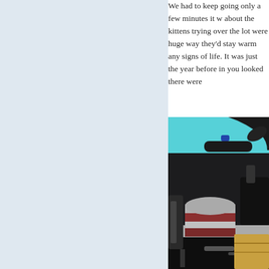We had to keep going... only a few minutes it w... about the kittens trying... over the lot were huge... way they'd stay warm... any signs of life. It was... just the year before in... you looked there were...
[Figure (photo): Close-up photograph of a motorcycle with taped handlebars/grip area showing silver and red duct tape wrapping, black frame and components, teal sky background, and some cargo visible at lower right.]